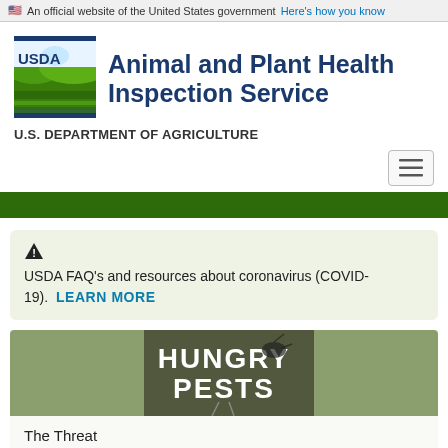An official website of the United States government Here's how you know
[Figure (logo): USDA Animal and Plant Health Inspection Service logo with green landscape graphic and USDA text]
Animal and Plant Health Inspection Service
U.S. DEPARTMENT OF AGRICULTURE
[Figure (infographic): Hamburger menu toggle button with three horizontal lines]
[Figure (photo): Hungry Pests campaign banner image with stylized text 'HUNGRY PESTS' over a green background with pest imagery]
USDA FAQ's and resources about coronavirus (COVID-19).  LEARN MORE
The Threat
How They Spread